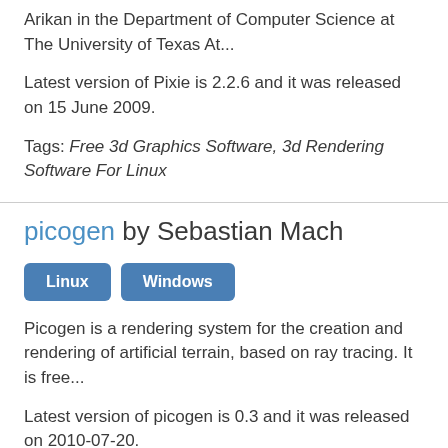Arikan in the Department of Computer Science at The University of Texas At...
Latest version of Pixie is 2.2.6 and it was released on 15 June 2009.
Tags: Free 3d Graphics Software, 3d Rendering Software For Linux
picogen by Sebastian Mach
Linux  Windows
Picogen is a rendering system for the creation and rendering of artificial terrain, based on ray tracing. It is free...
Latest version of picogen is 0.3 and it was released on 2010-07-20.
Tags: Free 3d Graphics Software, 3d Rendering Software For Linux, Global Illumination Software, Rendering Systems, Free Software Programmed In C, Software That Uses Minority...